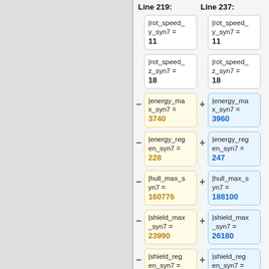Line 219:    Line 237:
|rot_speed_y_syn7 = 11
|rot_speed_y_syn7 = 11
|rot_speed_z_syn7 = 18
|rot_speed_z_syn7 = 18
- |energy_max_syn7 = 3740
+ |energy_max_syn7 = 3960
- |energy_regen_syn7 = 228
+ |energy_regen_syn7 = 247
- |hull_max_syn7 = 160776
+ |hull_max_syn7 = 188100
- |shield_max_syn7 = 23990
+ |shield_max_syn7 = 26180
- |shield_regen_syn7 =
+ |shield_regen_syn7 =